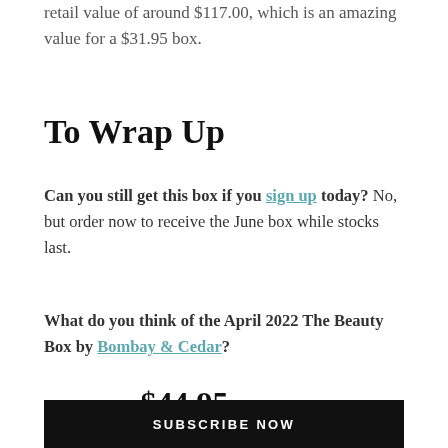The products this month have an estimated retail value of around $117.00, which is an amazing value for a $31.95 box.
To Wrap Up
Can you still get this box if you sign up today? No, but order now to receive the June box while stocks last.
What do you think of the April 2022 The Beauty Box by Bombay & Cedar?
STARTING AT $44.95
SUBSCRIBE NOW